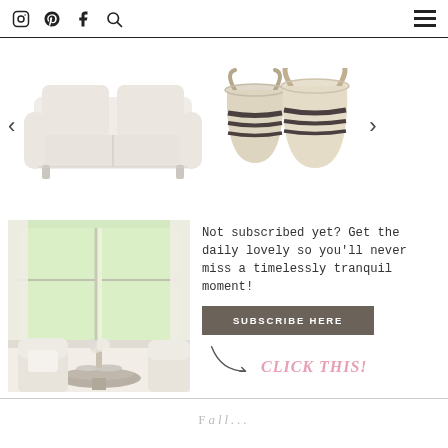Navigation bar with Instagram, Pinterest, Facebook, Search icons and hamburger menu
[Figure (photo): White slipcovered sofa product photo]
[Figure (photo): Two woven seagrass baskets with black stripe detail]
[Figure (photo): Interior room photo showing a bright window nook with white chairs, round table, flowers]
Not subscribed yet? Get the daily lovely so you'll never miss a timelessly tranquil moment!
SUBSCRIBE HERE
CLICK THIS!